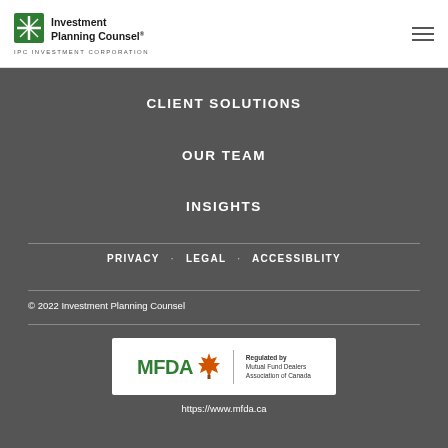[Figure (logo): Investment Planning Counsel / IPC Investment Corporation logo with green cross icon]
CLIENT SOLUTIONS
OUR TEAM
INSIGHTS
PRIVACY · LEGAL · ACCESSIBLITY
© 2022 Investment Planning Counsel
[Figure (logo): MFDA logo - Regulated by Mutual Fund Dealers Association of Canada]
https://www.mfda.ca